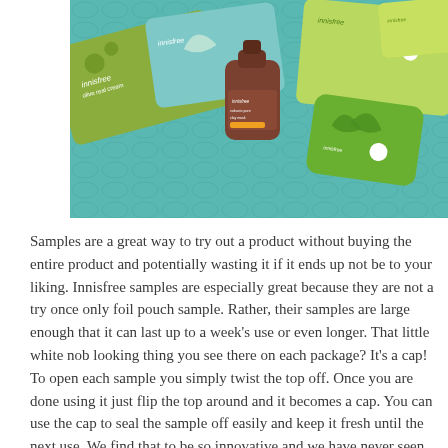[Figure (photo): Photo of multiple Innisfree product samples laid out on a teal/blue crocodile-textured surface. Samples include olive-themed foil packets, a brown bottle labeled 'innisfree volcanic pore clay mask', and green aloe-themed squeeze packets, along with several other sample cards.]
Samples are a great way to try out a product without buying the entire product and potentially wasting it if it ends up not be to your liking. Innisfree samples are especially great because they are not a try once only foil pouch sample. Rather, their samples are large enough that it can last up to a week's use or even longer. That little white nob looking thing you see there on each package? It's a cap! To open each sample you simply twist the top off. Once you are done using it just flip the top around and it becomes a cap. You can use the cap to seal the sample off easily and keep it fresh until the next use. We find that to be so innovative and we have never seen other brands do that with their samples, although we wish they would. Since all of these samples can be use multiple times, it's a great way to test and decide if any of these products are right for your skin.